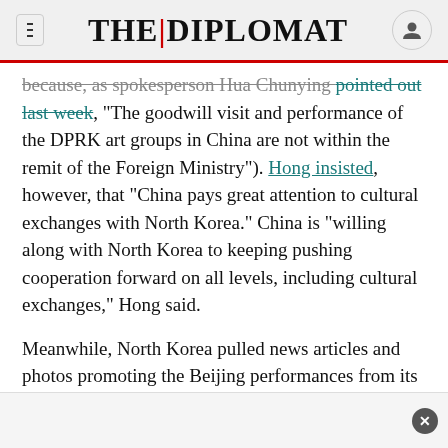THE DIPLOMAT
because, as spokesperson Hua Chunying pointed out last week, "The goodwill visit and performance of the DPRK art groups in China are not within the remit of the Foreign Ministry"). Hong insisted, however, that "China pays great attention to cultural exchanges with North Korea." China is "willing along with North Korea to keeping pushing cooperation forward on all levels, including cultural exchanges," Hong said.
Meanwhile, North Korea pulled news articles and photos promoting the Beijing performances from its websites, which had prominently featured the story last week. Pyongyang's Korean Central New Agency